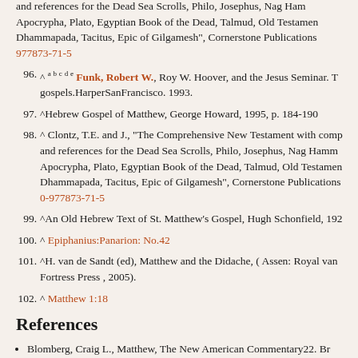and references for the Dead Sea Scrolls, Philo, Josephus, Nag Hammadi, Apocrypha, Plato, Egyptian Book of the Dead, Talmud, Old Testament, Dhammapada, Tacitus, Epic of Gilgamesh", Cornerstone Publications 977873-71-5
96. ^ a b c d e Funk, Robert W., Roy W. Hoover, and the Jesus Seminar. T gospels.HarperSanFrancisco. 1993.
97. ^Hebrew Gospel of Matthew, George Howard, 1995, p. 184-190
98. ^ Clontz, T.E. and J., "The Comprehensive New Testament with comp and references for the Dead Sea Scrolls, Philo, Josephus, Nag Hamm Apocrypha, Plato, Egyptian Book of the Dead, Talmud, Old Testament, Dhammapada, Tacitus, Epic of Gilgamesh", Cornerstone Publications 0-977873-71-5
99. ^An Old Hebrew Text of St. Matthew's Gospel, Hugh Schonfield, 192
100. ^ Epiphanius:Panarion: No.42
101. ^H. van de Sandt (ed), Matthew and the Didache, ( Assen: Royal van Fortress Press , 2005).
102. ^ Matthew 1:18
References
Blomberg, Craig L., Matthew, The New American Commentary22. Br
Bockmuehl, Markus and Donald A. Hagner, The Written Gospel, Cam ISBN 0521832853.